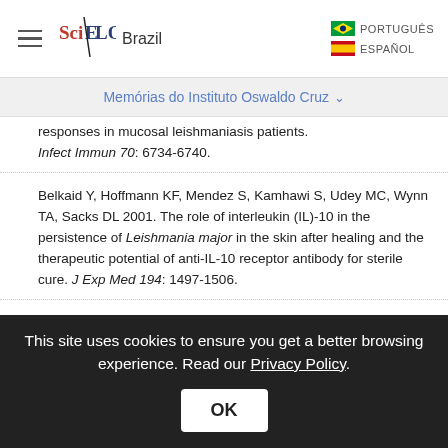[Figure (logo): SciELO Brazil logo with hamburger menu icon on left and language options (PORTUGUÊS, ESPAÑOL) on right]
Memórias do Instituto Oswaldo Cruz
responses in mucosal leishmaniasis patients. Infect Immun 70: 6734-6740.
Belkaid Y, Hoffmann KF, Mendez S, Kamhawi S, Udey MC, Wynn TA, Sacks DL 2001. The role of interleukin (IL)-10 in the persistence of Leishmania major in the skin after healing and the therapeutic potential of anti-IL-10 receptor antibody for sterile cure. J Exp Med 194: 1497-1506.
Berman JD 1997. Human leishmaniasis: clinical, diagnostic and chemotherapeutic
This site uses cookies to ensure you get a better browsing experience. Read our Privacy Policy.